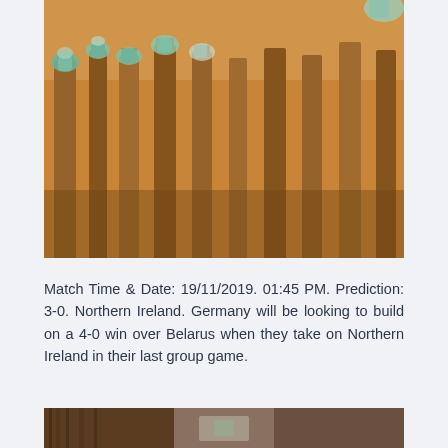[Figure (photo): Close-up photo of wooden fence posts with green glass bottle bottoms placed on top of the pointed stakes, warm golden-brown tones with teal/turquoise glass catching the light.]
Match Time & Date: 19/11/2019. 01:45 PM. Prediction: 3-0. Northern Ireland. Germany will be looking to build on a 4-0 win over Belarus when they take on Northern Ireland in their last group game.
[Figure (photo): Partially visible photo at the bottom of the page showing horses or people in an outdoor setting.]